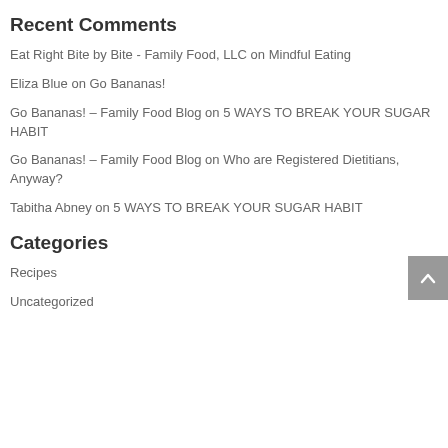Recent Comments
Eat Right Bite by Bite - Family Food, LLC on Mindful Eating
Eliza Blue on Go Bananas!
Go Bananas! – Family Food Blog on 5 WAYS TO BREAK YOUR SUGAR HABIT
Go Bananas! – Family Food Blog on Who are Registered Dietitians, Anyway?
Tabitha Abney on 5 WAYS TO BREAK YOUR SUGAR HABIT
Categories
Recipes
Uncategorized